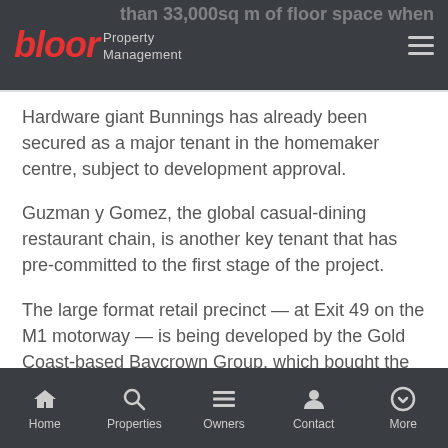bloor Property Management
Hardware giant Bunnings has already been secured as a major tenant in the homemaker centre, subject to development approval.
Guzman y Gomez, the global casual-dining restaurant chain, is another key tenant that has pre-committed to the first stage of the project.
The large format retail precinct — at Exit 49 on the M1 motorway — is being developed by the Gold Coast-based Baycrown Group, which bought the 24.8ha site at Yawalpah Rd, Pimpama, in 2014 for $14.18 million.
Home  Properties  Owners  Contact  More